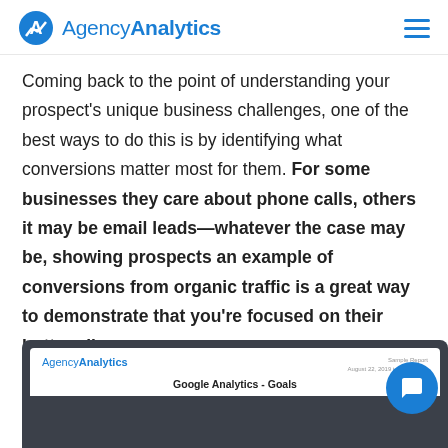AgencyAnalytics
Coming back to the point of understanding your prospect's unique business challenges, one of the best ways to do this is by identifying what conversions matter most for them. For some businesses they care about phone calls, others it may be email leads—whatever the case may be, showing prospects an example of conversions from organic traffic is a great way to demonstrate that you're focused on their bottom line:
[Figure (screenshot): Screenshot of AgencyAnalytics dashboard showing Google Analytics - Goals report header]